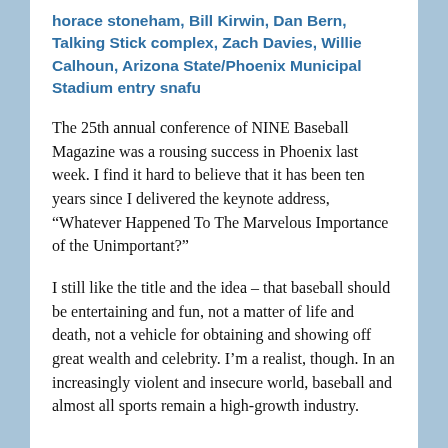horace stoneham, Bill Kirwin, Dan Bern, Talking Stick complex, Zach Davies, Willie Calhoun, Arizona State/Phoenix Municipal Stadium entry snafu
The 25th annual conference of NINE Baseball Magazine was a rousing success in Phoenix last week. I find it hard to believe that it has been ten years since I delivered the keynote address, “Whatever Happened To The Marvelous Importance of the Unimportant?”
I still like the title and the idea – that baseball should be entertaining and fun, not a matter of life and death, not a vehicle for obtaining and showing off great wealth and celebrity. I’m a realist, though. In an increasingly violent and insecure world, baseball and almost all sports remain a high-growth industry.